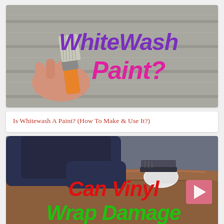[Figure (photo): A hand holding a paint brush with yellow paint being applied to a gray wood surface. Overlaid text reads 'WhiteWash Paint?' in purple and magenta bold italic font.]
Is Whitewash A Paint? (How To Make & Use It?)
[Figure (photo): A person in a dark jacket using a squeegee tool to apply a brown vinyl wrap to a car surface. Overlaid text reads 'Can Vinyl Wrap Damage' in red and green bold italic font.]